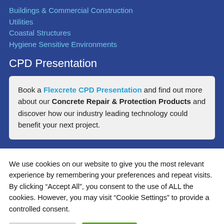Buildings & Commercial Construction
Utilities
Coastal Structures
Hygiene Sensitive Environments
CPD Presentation
Book a Flexcrete CPD Presentation and find out more about our Concrete Repair & Protection Products and discover how our industry leading technology could benefit your next project.
We use cookies on our website to give you the most relevant experience by remembering your preferences and repeat visits. By clicking “Accept All”, you consent to the use of ALL the cookies. However, you may visit "Cookie Settings" to provide a controlled consent.
Cookie Settings | Accept All